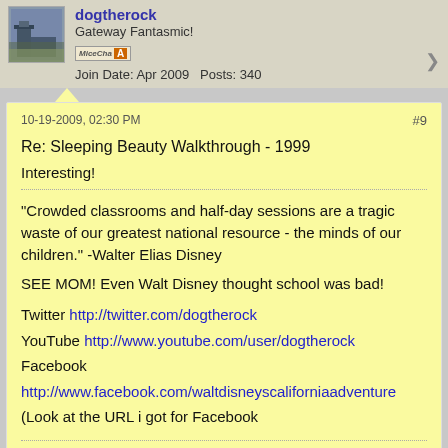dogtherock
Gateway Fantasmic!
Join Date: Apr 2009  Posts: 340
10-19-2009, 02:30 PM  #9
Re: Sleeping Beauty Walkthrough - 1999
Interesting!
"Crowded classrooms and half-day sessions are a tragic waste of our greatest national resource - the minds of our children." -Walter Elias Disney
SEE MOM! Even Walt Disney thought school was bad!
Twitter http://twitter.com/dogtherock
YouTube http://www.youtube.com/user/dogtherock
Facebook
http://www.facebook.com/waltdisneyscaliforniaadventure
(Look at the URL i got for Facebook